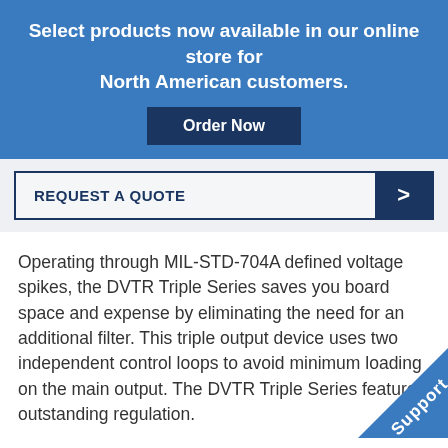Select products now available in our online store for North American customers.
Order Now
REQUEST A QUOTE
Operating through MIL-STD-704A defined voltage spikes, the DVTR Triple Series saves you board space and expense by eliminating the need for an additional filter. This triple output device uses two independent control loops to avoid minimum loading on the main output. The DVTR Triple Series features outstanding regulation.
Support